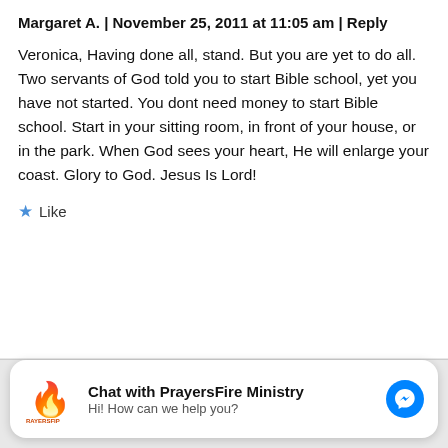Margaret A. | November 25, 2011 at 11:05 am | Reply
Veronica, Having done all, stand. But you are yet to do all. Two servants of God told you to start Bible school, yet you have not started. You dont need money to start Bible school. Start in your sitting room, in front of your house, or in the park. When God sees your heart, He will enlarge your coast. Glory to God. Jesus Is Lord!
Like
Chat with PrayersFire Ministry
Hi! How can we help you?